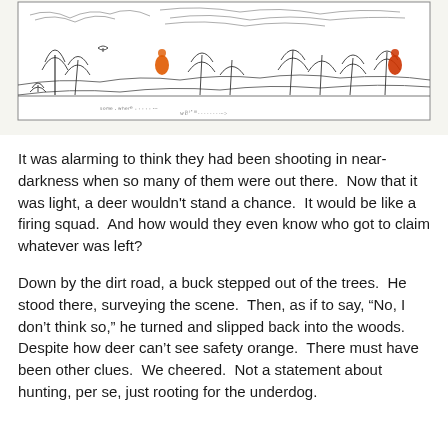[Figure (illustration): A hand-drawn sketch illustration showing a landscape with trees and bushes in rough pencil strokes. Two small orange figures (hunters in safety orange) are visible among the trees. There are scribbly handwritten notes along the bottom of the sketch.]
It was alarming to think they had been shooting in near-darkness when so many of them were out there.  Now that it was light, a deer wouldn't stand a chance.  It would be like a firing squad.  And how would they even know who got to claim whatever was left?
Down by the dirt road, a buck stepped out of the trees.  He stood there, surveying the scene.  Then, as if to say, "No, I don't think so," he turned and slipped back into the woods.  Despite how deer can't see safety orange.  There must have been other clues.  We cheered.  Not a statement about hunting, per se, just rooting for the underdog.